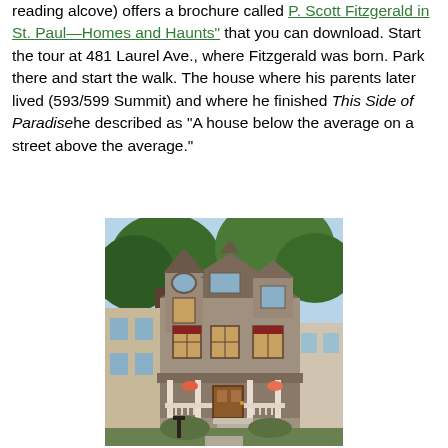reading alcove) offers a brochure called "P. Scott Fitzgerald in St. Paul—Homes and Haunts" that you can download. Start the tour at 481 Laurel Ave., where Fitzgerald was born. Park there and start the walk. The house where his parents later lived (593/599 Summit) and where he finished This Side of Paradisehe described as "A house below the average on a street above the average."
[Figure (photo): Victorian-style house at 593/599 Summit Ave, St. Paul — a large multi-story home with ornate woodwork, a front porch with white railings, bay windows, and surrounded by trees. The house is photographed on a sunny day.]